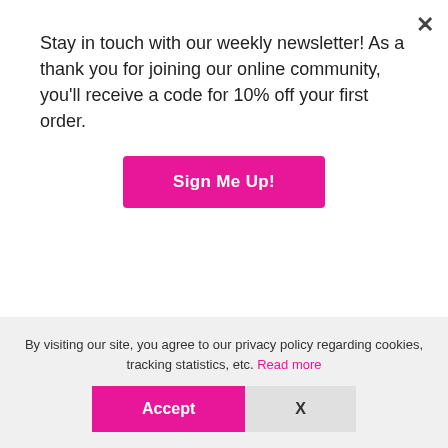Stay in touch with our weekly newsletter! As a thank you for joining our online community, you'll receive a code for 10% off your first order.
Sign Me Up!
* Bountiful (Fingering Weight), 100% Superwash BFL – 655 yd
* Decadent (Fingering Weight), 55% Superwash BFL, 45% Silk
* Ephemeral (Fingering Weight), 80% Superwash Merino, 20%
By visiting our site, you agree to our privacy policy regarding cookies, tracking statistics, etc. Read more
Accept
X